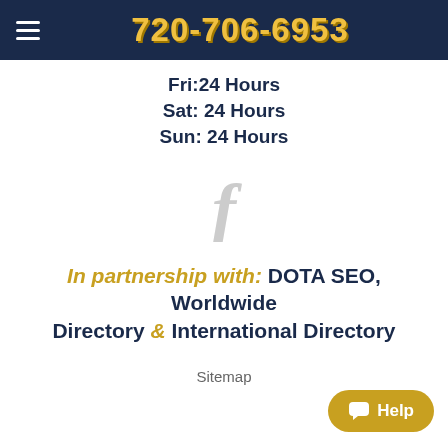720-706-6953
Fri:24 Hours
Sat: 24 Hours
Sun: 24 Hours
[Figure (logo): Facebook 'f' icon in light gray]
In partnership with: DOTA SEO, Worldwide Directory & International Directory
Sitemap
Help